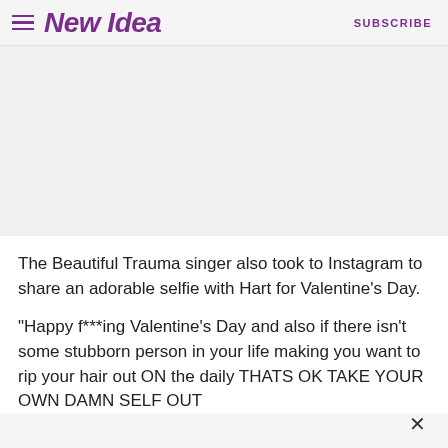New Idea | SUBSCRIBE
[Figure (photo): Empty/placeholder image area (white/light grey rectangle)]
The Beautiful Trauma singer also took to Instagram to share an adorable selfie with Hart for Valentine's Day.
“Happy f***ing Valentine’s Day and also if there isn’t some stubborn person in your life making you want to rip your hair out ON the daily THATS OK TAKE YOUR OWN DAMN SELF OUT